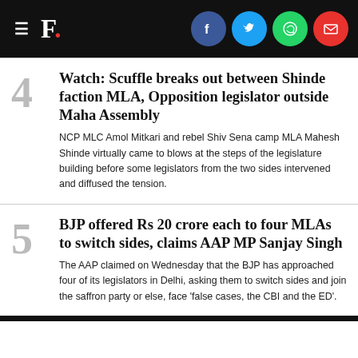F. [social share icons: Facebook, Twitter, WhatsApp, Email]
4 Watch: Scuffle breaks out between Shinde faction MLA, Opposition legislator outside Maha Assembly — NCP MLC Amol Mitkari and rebel Shiv Sena camp MLA Mahesh Shinde virtually came to blows at the steps of the legislature building before some legislators from the two sides intervened and diffused the tension.
5 BJP offered Rs 20 crore each to four MLAs to switch sides, claims AAP MP Sanjay Singh — The AAP claimed on Wednesday that the BJP has approached four of its legislators in Delhi, asking them to switch sides and join the saffron party or else, face 'false cases, the CBI and the ED'.